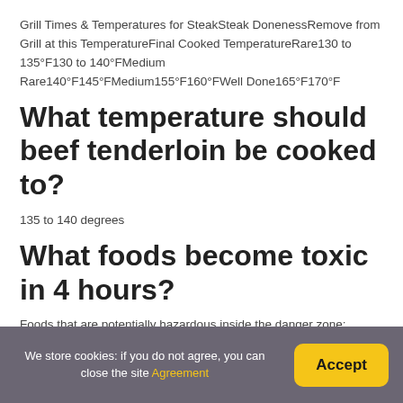Grill Times & Temperatures for SteakSteak DonenessRemove from Grill at this TemperatureFinal Cooked TemperatureRare130 to 135°F130 to 140°FMedium Rare140°F145°FMedium155°F160°FWell Done165°F170°F
What temperature should beef tenderloin be cooked to?
135 to 140 degrees
What foods become toxic in 4 hours?
Foods that are potentially hazardous inside the danger zone:
We store cookies: if you do not agree, you can close the site Agreement | Accept